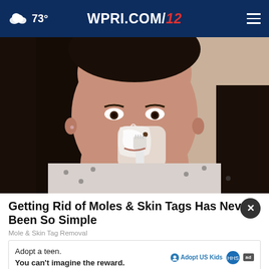73° WPRI.COM/2
[Figure (photo): Woman applying white cream/paste to her nose area with a toothbrush, wearing a patterned blouse, photographed from a slightly low angle]
Getting Rid of Moles & Skin Tags Has Never Been So Simple
Mole & Skin Tag Removal
Adopt a teen. You can't imagine the reward.